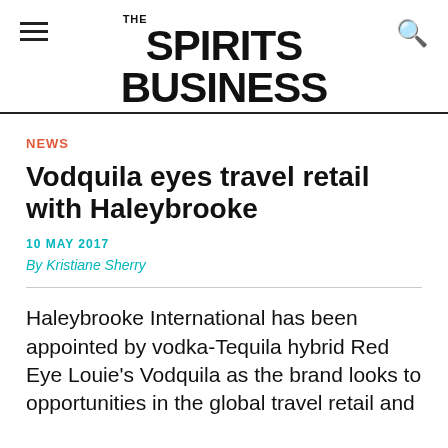THE SPIRITS BUSINESS
NEWS
Vodquila eyes travel retail with Haleybrooke
10 MAY 2017
By Kristiane Sherry
Haleybrooke International has been appointed by vodka-Tequila hybrid Red Eye Louie's Vodquila as the brand looks to opportunities in the global travel retail and